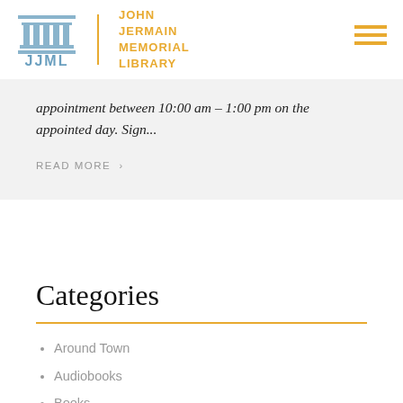JOHN JERMAIN MEMORIAL LIBRARY
appointment between 10:00 am – 1:00 pm on the appointed day.  Sign...
READ MORE  >
Older posts
Categories
Around Town
Audiobooks
Books
Building Program